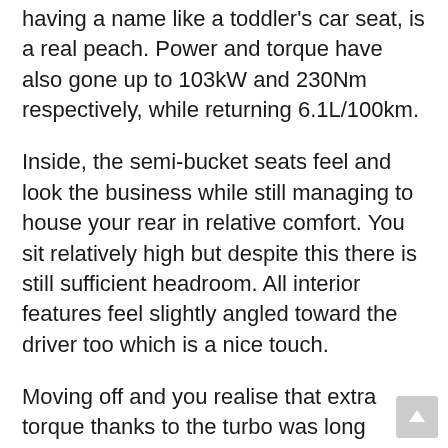having a name like a toddler's car seat, is a real peach. Power and torque have also gone up to 103kW and 230Nm respectively, while returning 6.1L/100km.
Inside, the semi-bucket seats feel and look the business while still managing to house your rear in relative comfort. You sit relatively high but despite this there is still sufficient headroom. All interior features feel slightly angled toward the driver too which is a nice touch.
Moving off and you realise that extra torque thanks to the turbo was long needed. At speed I found myself short shifting below 4,000rpm most of the time. A stark contrast from the previous 1.6-litre N/A model, which left you